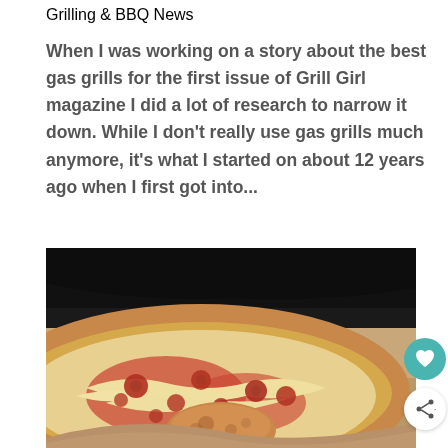Grilling & BBQ News
When I was working on a story about the best gas grills for the first issue of Grill Girl magazine I did a lot of research to narrow it down. While I don't really use gas grills much anymore, it's what I started on about 12 years ago when I first got into...
[Figure (photo): Close-up photo of a pizza with melted cheese, tomato sauce, and toppings on a pizza stone, viewed from a low angle showing the crust and surface detail.]